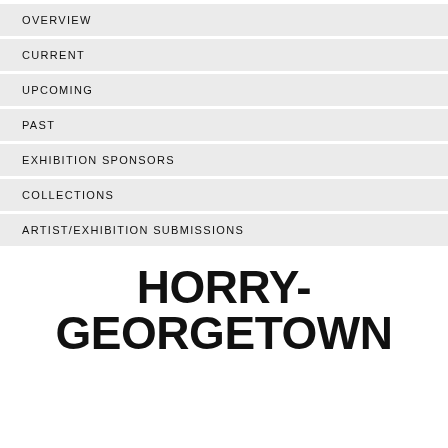OVERVIEW
CURRENT
UPCOMING
PAST
EXHIBITION SPONSORS
COLLECTIONS
ARTIST/EXHIBITION SUBMISSIONS
HORRY-GEORGETOWN